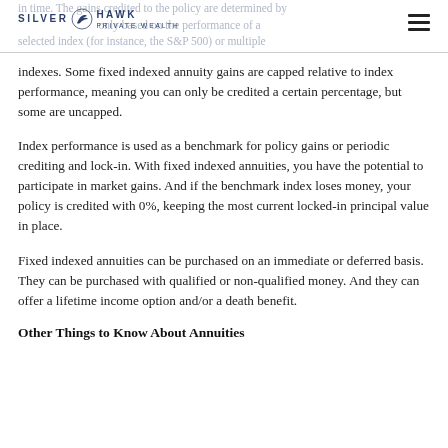Silver Hawk Private Wealth
in time. The gains credited to the policy are determined by only based on the performance of a selected index (for instance, the S&P 500) or multiple indexes. Some fixed indexed annuity gains are capped relative to index performance, meaning you can only be credited a certain percentage, but some are uncapped.
Index performance is used as a benchmark for policy gains or periodic crediting and lock-in. With fixed indexed annuities, you have the potential to participate in market gains. And if the benchmark index loses money, your policy is credited with 0%, keeping the most current locked-in principal value in place.
Fixed indexed annuities can be purchased on an immediate or deferred basis. They can be purchased with qualified or non-qualified money. And they can offer a lifetime income option and/or a death benefit.
Other Things to Know About Annuities